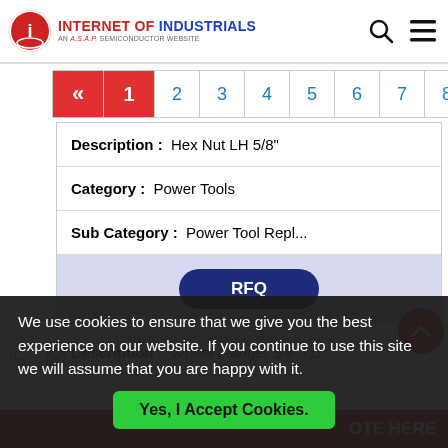INTERNET OF INDUSTRIALS - AN ASAP SEMICONDUCTOR WEBSITE
| Description: | Hex Nut LH 5/8" |
| Category: | Power Tools |
| Sub Category: | Power Tool Repl... |
| RFQ |  |
| Part No: | 00089.00 |
| Description: | Wheel Flange, 5/8" I.D. |
We use cookies to ensure that we give you the best experience on our website. If you continue to use this site we will assume that you are happy with it.
Yes, I Accept Cookies.
AS9120B, ISO 9001:2015, FAA 8056B Accredited